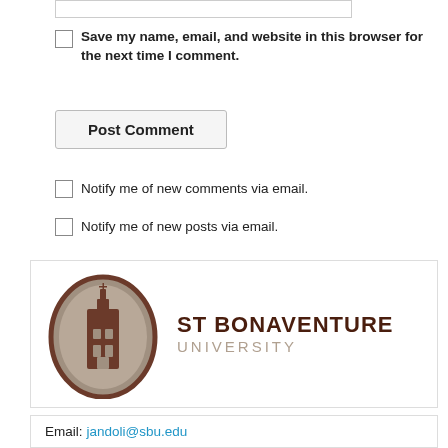Save my name, email, and website in this browser for the next time I comment.
Post Comment
Notify me of new comments via email.
Notify me of new posts via email.
[Figure (logo): St. Bonaventure University logo with brown oval shield icon and text 'ST BONAVENTURE UNIVERSITY']
Email: jandoli@sbu.edu